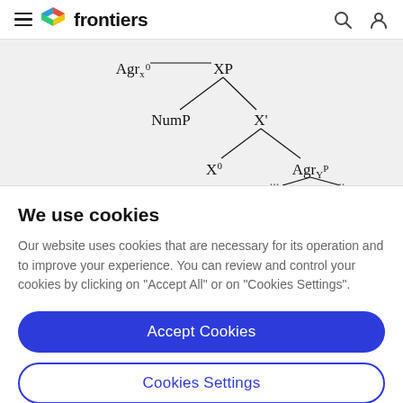frontiers
[Figure (other): Syntax tree diagram showing linguistic structure with nodes labeled Agrx^0, XP, NumP, X', X^0, AgryP, and partial lower nodes. Lines connect the nodes in a branching tree structure.]
We use cookies
Our website uses cookies that are necessary for its operation and to improve your experience. You can review and control your cookies by clicking on "Accept All" or on "Cookies Settings".
Accept Cookies
Cookies Settings